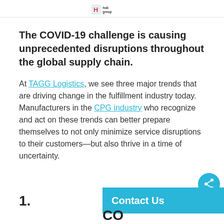Hub Group logo
The COVID-19 challenge is causing unprecedented disruptions throughout the global supply chain.
At TAGG Logistics, we see three major trends that are driving change in the fulfillment industry today. Manufacturers in the CPG industry who recognize and act on these trends can better prepare themselves to not only minimize service disruptions to their customers—but also thrive in a time of uncertainty.
1.
Contact Us
CO